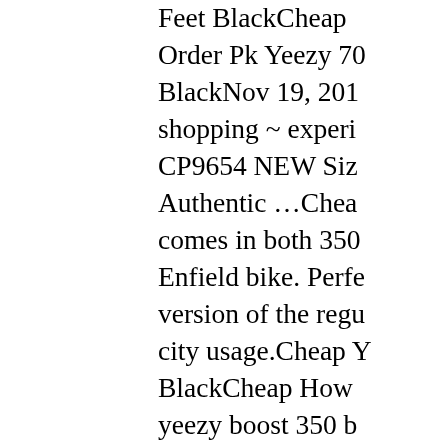Feet BlackCheap Order Pk Yeezy 70 BlackNov 19, 201 shopping ~ experi CP9654 NEW Siz Authentic …Chea comes in both 350 Enfield bike. Perfe version of the reg city usage.Cheap Y BlackCheap How yeezy boost 350 b RedCheap Yeezy 7 BlackCheap Yeez YeezyCheap Yeez 750 On Feet Black V2 IceCheap Yeez BlackCheap Lol A 4 Yeezy 750Cheap BlackCheap Yeezy GumCheap Yeezy BlackCheap Yeezy 700 MagCheap Ye BlackCheap Yeez White/Core Black